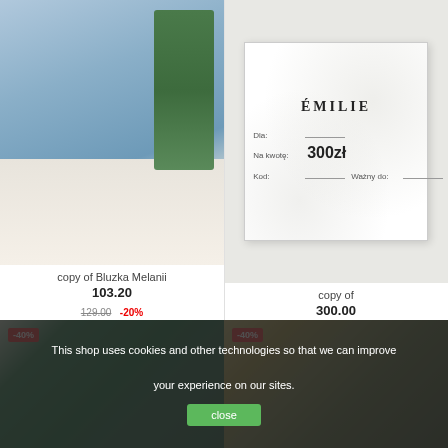[Figure (photo): Woman wearing a light blue short-sleeve blouse with white pants, standing near a green plant]
[Figure (photo): Gift card for Emilie brand showing 300zł value with fields for Dla, Na kwotę, Kod, and Ważny do]
copy of Bluzka Melanii
103.20
129.00 -20%
copy of
300.00
[Figure (photo): Woman in green outfit (top and leggings) with -40% badge]
[Figure (photo): Woman in outdoor setting wearing grey/olive dress with black boots, with -40% badge]
This shop uses cookies and other technologies so that we can improve your experience on our sites.
close